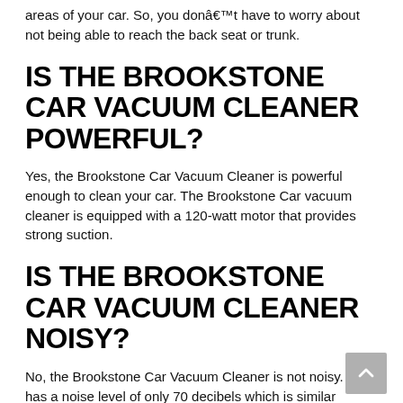areas of your car. So, you donâ€™t have to worry about not being able to reach the back seat or trunk.
IS THE BROOKSTONE CAR VACUUM CLEANER POWERFUL?
Yes, the Brookstone Car Vacuum Cleaner is powerful enough to clean your car. The Brookstone Car vacuum cleaner is equipped with a 120-watt motor that provides strong suction.
IS THE BROOKSTONE CAR VACUUM CLEANER NOISY?
No, the Brookstone Car Vacuum Cleaner is not noisy. It has a noise level of only 70 decibels which is similar